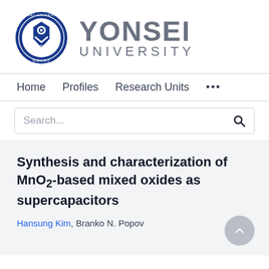[Figure (logo): Yonsei University logo with circular seal on left and 'YONSEI UNIVERSITY' text on right in gray]
Home   Profiles   Research Units   ...
Search...
Synthesis and characterization of MnO2-based mixed oxides as supercapacitors
Hansung Kim, Branko N. Popov